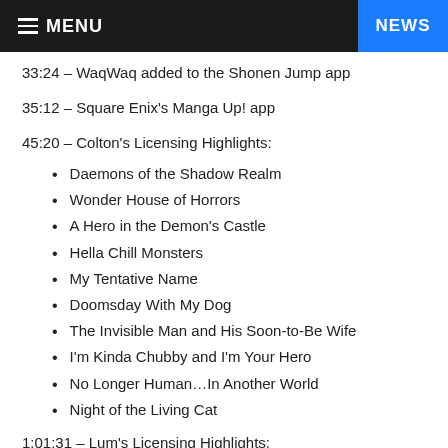≡ MENU   NEWS
33:24 – WaqWaq added to the Shonen Jump app
35:12 – Square Enix's Manga Up! app
45:20 – Colton's Licensing Highlights:
Daemons of the Shadow Realm
Wonder House of Horrors
A Hero in the Demon's Castle
Hella Chill Monsters
My Tentative Name
Doomsday With My Dog
The Invisible Man and His Soon-to-Be Wife
I'm Kinda Chubby and I'm Your Hero
No Longer Human…In Another World
Night of the Living Cat
1:01:31 – Lum's Licensing Highlights: